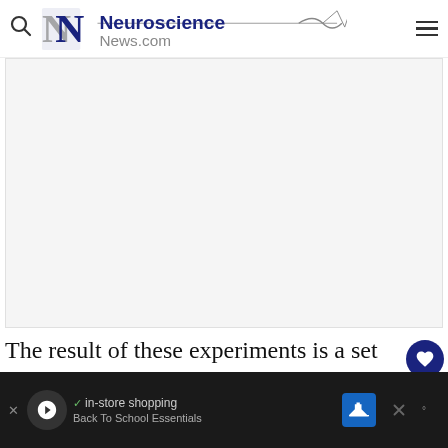Neuroscience News.com
[Figure (photo): Large blank/white image area placeholder for article image on NeuroscienceNews.com article page]
The result of these experiments is a set of instructions that can be incorporated into a ro...y
[Figure (other): Advertisement banner at bottom of page showing in-store shopping ad with navigation icons]